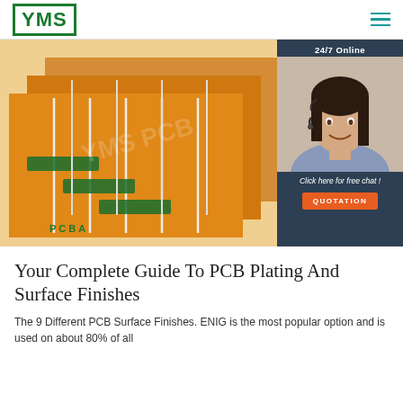YMS | Navigation menu (hamburger)
[Figure (photo): Orange flexible PCB boards stacked at an angle, showing green connector areas and white traces. Labeled 'PCBA' in green. Right side shows a 24/7 online chat widget with a woman wearing a headset, 'Click here for free chat!' text, and an orange QUOTATION button.]
Your Complete Guide To PCB Plating And Surface Finishes
The 9 Different PCB Surface Finishes. ENIG is the most popular option and is used on about 80% of all